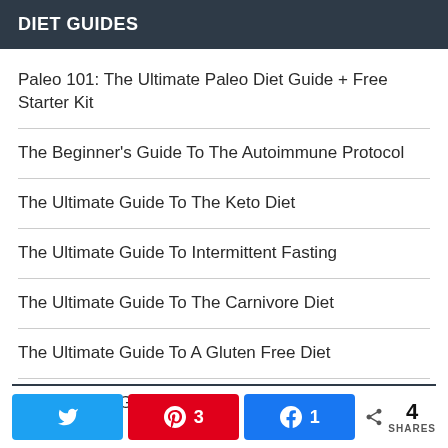DIET GUIDES
Paleo 101: The Ultimate Paleo Diet Guide + Free Starter Kit
The Beginner's Guide To The Autoimmune Protocol
The Ultimate Guide To The Keto Diet
The Ultimate Guide To Intermittent Fasting
The Ultimate Guide To The Carnivore Diet
The Ultimate Guide To A Gluten Free Diet
The Ultimate Guide To Celiac Disease